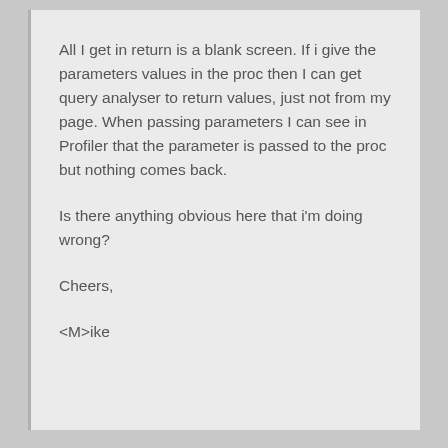All I get in return is a blank screen. If i give the parameters values in the proc then I can get query analyser to return values, just not from my page. When passing parameters I can see in Profiler that the parameter is passed to the proc but nothing comes back.
Is there anything obvious here that i'm doing wrong?
Cheers,
<M>ike